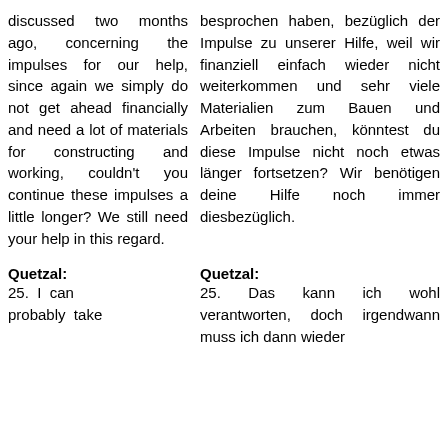discussed two months ago, concerning the impulses for our help, since again we simply do not get ahead financially and need a lot of materials for constructing and working, couldn't you continue these impulses a little longer? We still need your help in this regard.
besprochen haben, bezüglich der Impulse zu unserer Hilfe, weil wir finanziell einfach wieder nicht weiterkommen und sehr viele Materialien zum Bauen und Arbeiten brauchen, könntest du diese Impulse nicht noch etwas länger fortsetzen? Wir benötigen deine Hilfe noch immer diesbezüglich.
Quetzal:
Quetzal:
25. I can probably take
25. Das kann ich wohl verantworten, doch irgendwann muss ich dann wieder